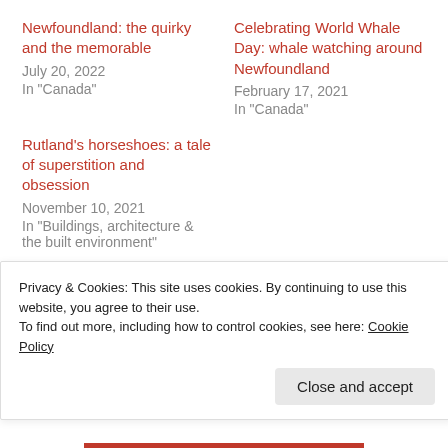Newfoundland: the quirky and the memorable
July 20, 2022
In "Canada"
Celebrating World Whale Day: whale watching around Newfoundland
February 17, 2021
In "Canada"
Rutland's horseshoes: a tale of superstition and obsession
November 10, 2021
In "Buildings, architecture & the built environment"
Privacy & Cookies: This site uses cookies. By continuing to use this website, you agree to their use.
To find out more, including how to control cookies, see here: Cookie Policy
Close and accept